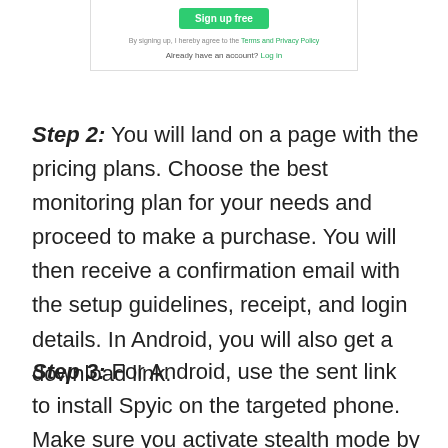[Figure (screenshot): Partial screenshot of a sign-up form showing a green 'Sign up free' button, a terms agreement line, and an 'Already have an account? Log in' link.]
Step 2: You will land on a page with the pricing plans. Choose the best monitoring plan for your needs and proceed to make a purchase. You will then receive a confirmation email with the setup guidelines, receipt, and login details. In Android, you will also get a download link.
Step 3: For Android, use the sent link to install Spyic on the targeted phone. Make sure you activate stealth mode by checking the 'Hide